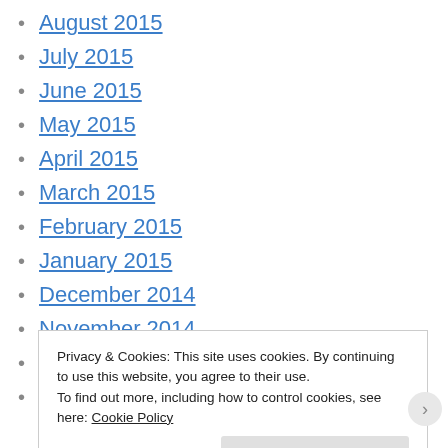August 2015
July 2015
June 2015
May 2015
April 2015
March 2015
February 2015
January 2015
December 2014
November 2014
October 2014
September 2014
Privacy & Cookies: This site uses cookies. By continuing to use this website, you agree to their use. To find out more, including how to control cookies, see here: Cookie Policy